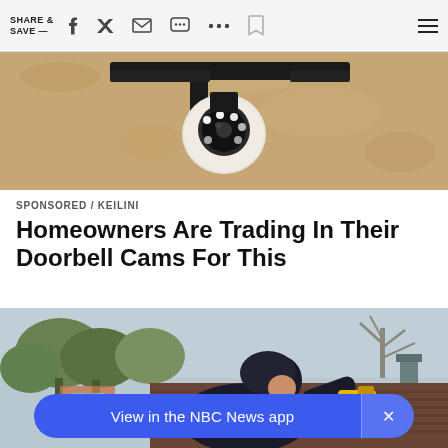SHARE & SAVE —
[Figure (photo): Security camera mounted on a wall bracket with LED lights visible, close-up shot against a textured beige wall]
SPONSORED / KEILINI
Homeowners Are Trading In Their Doorbell Cams For This
[Figure (photo): A person in a dark hooded jacket using a drill/power tool on a rooftop with shingles, trees visible in background]
View in the NBC News app